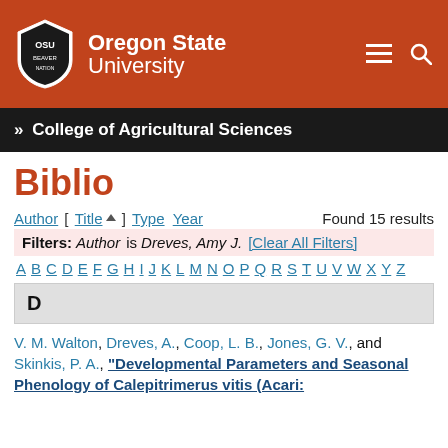[Figure (logo): Oregon State University logo with shield and text on orange header background]
» College of Agricultural Sciences
Biblio
Author [ Title ] Type Year   Found 15 results
Filters: Author is Dreves, Amy J.  [Clear All Filters]
A B C D E F G H I J K L M N O P Q R S T U V W X Y Z
D
V. M. Walton, Dreves, A., Coop, L. B., Jones, G. V., and Skinkis, P. A., "Developmental Parameters and Seasonal Phenology of Calepitrimerus vitis (Acari: